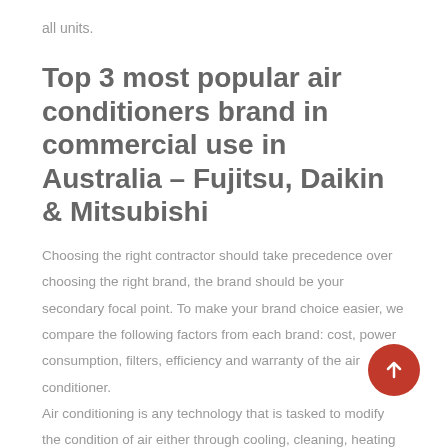all units.
Top 3 most popular air conditioners brand in commercial use in Australia – Fujitsu, Daikin & Mitsubishi
Choosing the right contractor should take precedence over choosing the right brand, the brand should be your secondary focal point. To make your brand choice easier, we compare the following factors from each brand: cost, power consumption, filters, efficiency and warranty of the air conditioner.
Air conditioning is any technology that is tasked to modify the condition of air either through cooling, cleaning, heating...